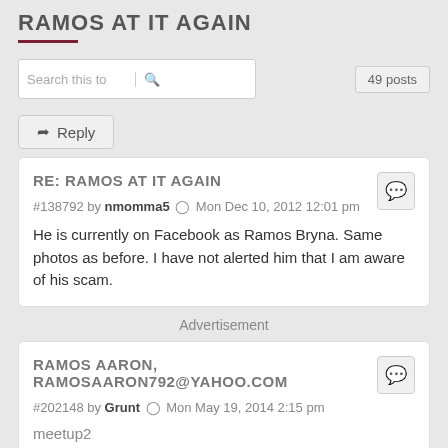RAMOS AT IT AGAIN
Search this to   49 posts
Reply
RE: RAMOS AT IT AGAIN
#138792 by nmomma5 Mon Dec 10, 2012 12:01 pm
He is currently on Facebook as Ramos Bryna. Same photos as before. I have not alerted him that I am aware of his scam.
Advertisement
RAMOS AARON, RAMOSAARON792@YAHOO.COM
#202148 by Grunt Mon May 19, 2014 2:15 pm
meetup2